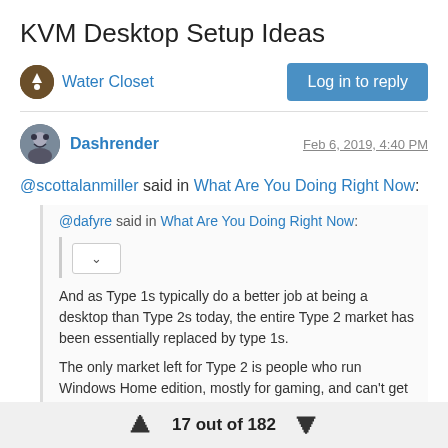KVM Desktop Setup Ideas
Water Closet
Log in to reply
Dashrender
Feb 6, 2019, 4:40 PM
@scottalanmiller said in What Are You Doing Right Now:
@dafyre said in What Are You Doing Right Now:
And as Type 1s typically do a better job at being a desktop than Type 2s today, the entire Type 2 market has been essentially replaced by type 1s.

The only market left for Type 2 is people who run Windows Home edition, mostly for gaming, and can't get Hyper-V with the local pass through for it.
Wouldn't this be a power user type move, where the person would
17 out of 182